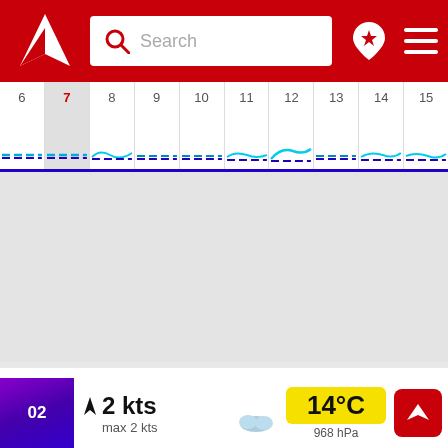[Figure (screenshot): Red navigation bar with Windfinder logo (white arrow/triangle), search bar with magnifying glass icon and 'Search' placeholder, location pin icon with star, and hamburger menu icon]
[Figure (other): Horizontal calendar date strip showing days 6 through 15, with day 7 highlighted in gray (selected). Each day column has small blue wind indicator lines and a thick blue/purple line along the bottom.]
[Figure (other): Large gray empty map/chart area]
Thursday, Sep 08
Wind
Weather
02
2 kts
max 2 kts
14°C
968 hPa